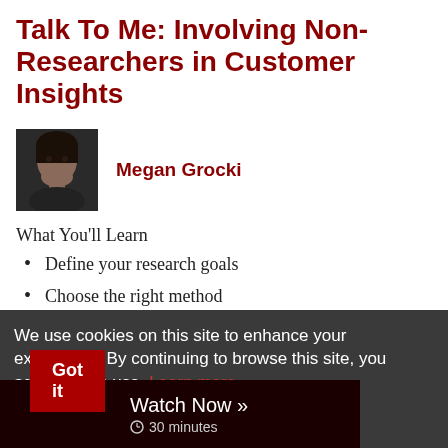Talk To Me: Involving Non-Researchers in Customer Insights
[Figure (photo): Headshot of Megan Grocki, a woman with dark hair]
Megan Grocki
What You'll Learn
Define your research goals
Choose the right method
Identify the audience and recruit them
Develop a research plan
We use cookies on this site to enhance your experience. By continuing to browse this site, you agree to this use. Learn more.
Got it
Watch Now » 30 minutes